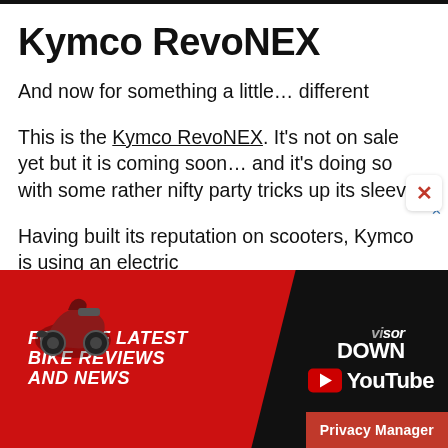Kymco RevoNEX
And now for something a little… different
This is the Kymco RevoNEX. It's not on sale yet but it is coming soon… and it's doing so with some rather nifty party tricks up its sleeve.
Having built its reputation on scooters, Kymco is using an electric
[Figure (infographic): Advertisement banner for Visor Down YouTube channel with red diagonal background, text 'FOR THE LATEST BIKE REVIEWS AND NEWS' and Visor Down logo with YouTube play button]